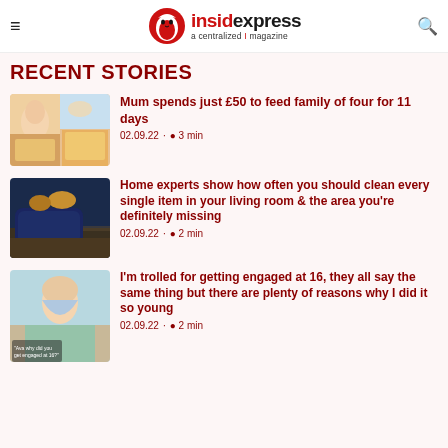insidexpress — a centralized magazine
Recent Stories
[Figure (photo): Woman and food collage thumbnail]
Mum spends just £50 to feed family of four for 11 days — 02.09.22 · 3 min
[Figure (photo): Dark blue sofa with yellow cushions]
Home experts show how often you should clean every single item in your living room & the area you're definitely missing — 02.09.22 · 2 min
[Figure (photo): Young blonde woman with text overlay 'Ava why did you get engaged at 16?']
I'm trolled for getting engaged at 16, they all say the same thing but there are plenty of reasons why I did it so young — 02.09.22 · 2 min